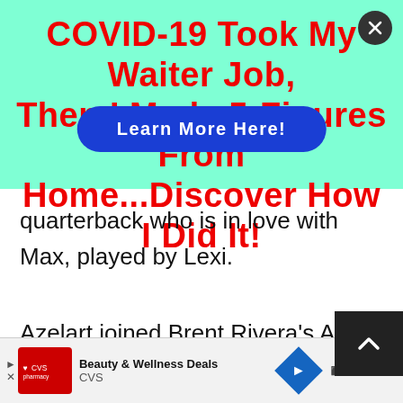[Figure (other): Advertisement banner with teal background. Bold red text: 'COVID-19 Took My Waiter Job, Then I Made 5-Figures From Home...Discover How I Did It!' with a blue oval button labeled 'Learn More Here!' overlapping the text. A dark close (X) button in top-right corner.]
quarterback who is in love with Max, played by Lexi.
Azelart joined Brent Rivera's AMP Studio in 2018, where Lexi Hensler and Jeremy Hutchins also worked.
[Figure (screenshot): CVS advertisement banner showing CVS pharmacy logo, 'Beauty & Wellness Deals' text, 'CVS' label, a blue road sign icon, and audio/speaker icon.]